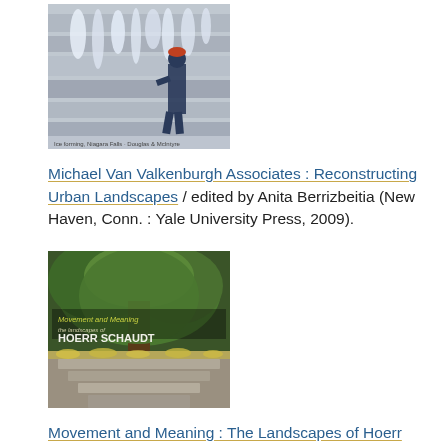[Figure (photo): Book cover of Michael Van Valkenburgh Associates: Reconstructing Urban Landscapes, showing a person in winter gear near an icy stone wall]
Michael Van Valkenburgh Associates : Reconstructing Urban Landscapes / edited by Anita Berrizbeitia (New Haven, Conn. : Yale University Press, 2009).
[Figure (photo): Book cover of Movement and Meaning: The Landscapes of Hoerr Schaudt, showing a lush green garden with stone steps and trees]
Movement and Meaning : The Landscapes of Hoerr Schaudt / Douglas Hoerr, Peter Lindsay Schaudt (New